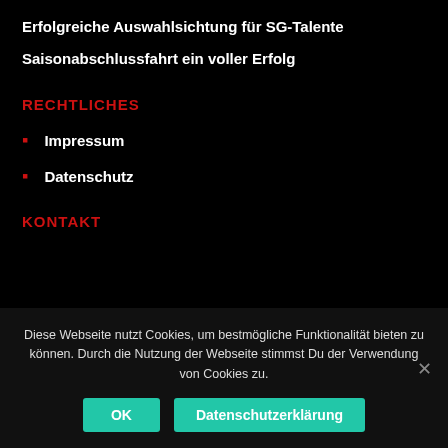Erfolgreiche Auswahlsichtung für SG-Talente
Saisonabschlussfahrt ein voller Erfolg
RECHTLICHES
Impressum
Datenschutz
KONTAKT
Diese Webseite nutzt Cookies, um bestmögliche Funktionalität bieten zu können. Durch die Nutzung der Webseite stimmst Du der Verwendung von Cookies zu.